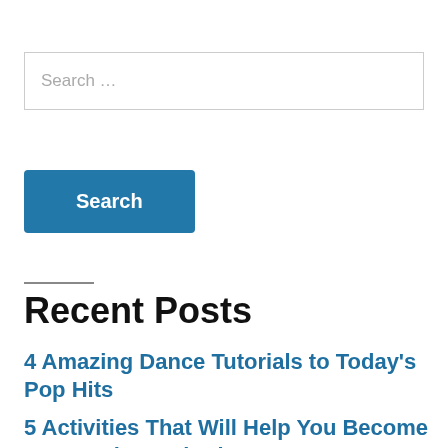Search …
Search
Recent Posts
4 Amazing Dance Tutorials to Today's Pop Hits
5 Activities That Will Help You Become an Amazing Guitarist